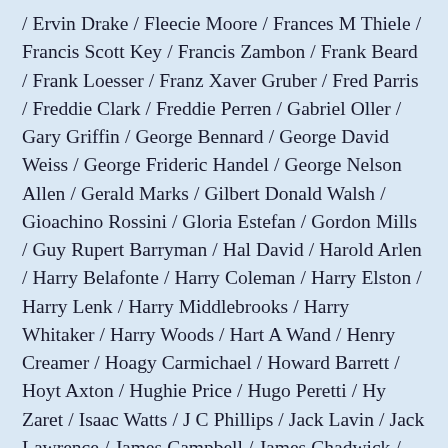/ Ervin Drake / Fleecie Moore / Frances M Thiele / Francis Scott Key / Francis Zambon / Frank Beard / Frank Loesser / Franz Xaver Gruber / Fred Parris / Freddie Clark / Freddie Perren / Gabriel Oller / Gary Griffin / George Bennard / George David Weiss / George Frideric Handel / George Nelson Allen / Gerald Marks / Gilbert Donald Walsh / Gioachino Rossini / Gloria Estefan / Gordon Mills / Guy Rupert Barryman / Hal David / Harold Arlen / Harry Belafonte / Harry Coleman / Harry Elston / Harry Lenk / Harry Middlebrooks / Harry Whitaker / Harry Woods / Hart A Wand / Henry Creamer / Hoagy Carmichael / Howard Barrett / Hoyt Axton / Hughie Price / Hugo Peretti / Hy Zaret / Isaac Watts / J C Phillips / Jack Lavin / Jack Lawrence / James Campbell / James Chadwick / James Cobb /